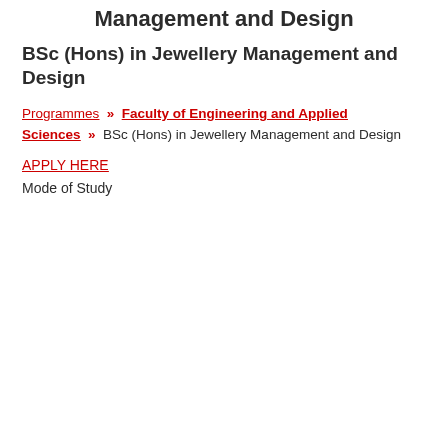Management and Design
BSc (Hons) in Jewellery Management and Design
Programmes » Faculty of Engineering and Applied Sciences » BSc (Hons) in Jewellery Management and Design
APPLY HERE
Mode of Study